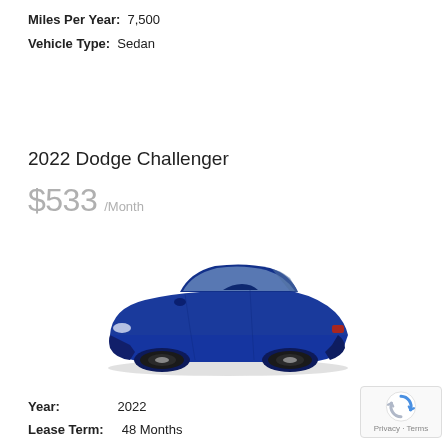Miles Per Year: 7,500
Vehicle Type: Sedan
2022 Dodge Challenger
$533 /Month
[Figure (illustration): Blue 2022 Dodge Challenger muscle car viewed from a 3/4 front angle, dark wheels, dark roof]
Year: 2022
Lease Term: 48 Months
Miles Per Year: 7,500